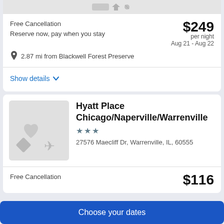[Figure (screenshot): Partial hotel image placeholder at top of page]
Free Cancellation
Reserve now, pay when you stay
$249 per night Aug 21 - Aug 22
2.87 mi from Blackwell Forest Preserve
Show details
[Figure (photo): Hyatt Place Chicago/Naperville hotel image placeholder]
Hyatt Place Chicago/Naperville/Warrenville
27576 Maecliff Dr, Warrenville, IL, 60555
Free Cancellation
$116
Choose your dates